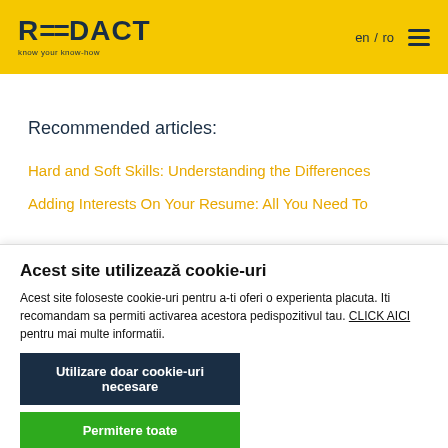REEDACT — know your know-how | en / ro
Recommended articles:
Hard and Soft Skills: Understanding the Differences
Adding Interests On Your Resume: All You Need To
Acest site utilizează cookie-uri
Acest site foloseste cookie-uri pentru a-ti oferi o experienta placuta. Iti recomandam sa permiti activarea acestora pedispozitivul tau. CLICK AICI pentru mai multe informatii.
Utilizare doar cookie-uri necesare
Permitere toate
Afișare